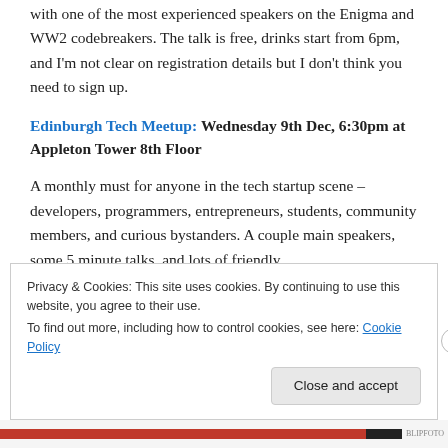with one of the most experienced speakers on the Enigma and WW2 codebreakers. The talk is free, drinks start from 6pm, and I'm not clear on registration details but I don't think you need to sign up.
Edinburgh Tech Meetup: Wednesday 9th Dec, 6:30pm at Appleton Tower 8th Floor
A monthly must for anyone in the tech startup scene – developers, programmers, entrepreneurs, students, community members, and curious bystanders. A couple main speakers, some 5 minute talks, and lots of friendly
Privacy & Cookies: This site uses cookies. By continuing to use this website, you agree to their use.
To find out more, including how to control cookies, see here: Cookie Policy